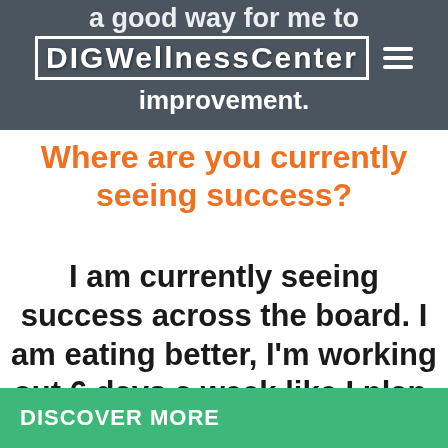a good way for me to feel improvement.
[Figure (logo): DIGWellnessCenter logo with hamburger menu icon on a dark grey background]
Where are you currently seeing success?
I am currently seeing success across the board. I am eating better, I'm working out 6 days a week like I plan, I'm
DISCOVER MORE